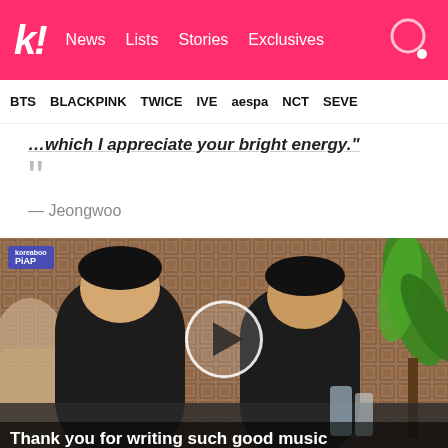koreaboo — News | Lists | Stories | Exclusives
BTS  BLACKPINK  TWICE  IVE  aespa  NCT  SEVE
…which I appreciate your bright energy."
— Jeongwoo
[Figure (photo): Video thumbnail showing two young men in black clothing seated at a table with a lattice background and a plant. A play button circle overlay is in the center. Subtitle text at bottom reads: Thank you for writing such good music]
Thank you for writing such good music